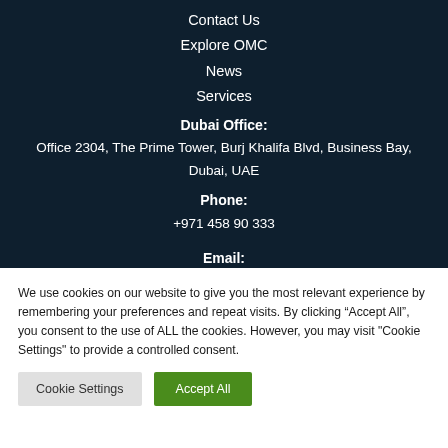Contact Us
Explore OMC
News
Services
Dubai Office:
Office 2304, The Prime Tower, Burj Khalifa Blvd, Business Bay, Dubai, UAE
Phone:
+971 458 90 333
Email:
We use cookies on our website to give you the most relevant experience by remembering your preferences and repeat visits. By clicking “Accept All”, you consent to the use of ALL the cookies. However, you may visit "Cookie Settings" to provide a controlled consent.